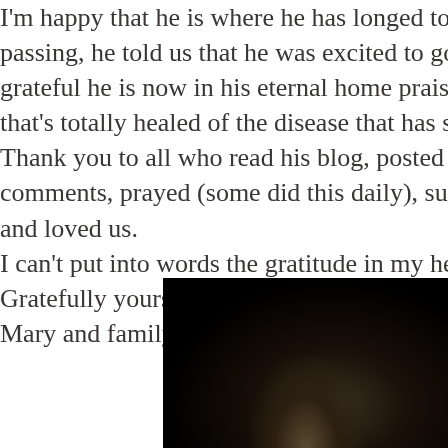I'm happy that he is where he has longed to be. Before his passing, he told us that he was excited to go home. I'm grateful he is now in his eternal home praising God and that's totally healed of the disease that has so ravaged him. Thank you to all who read his blog, posted encouraging comments, prayed (some did this daily), supported, and loved us. I can't put into words the gratitude in my heart. Gratefully yours, Mary and family
[Figure (photo): A dark nighttime photograph, mostly black with a faint illuminated area at the bottom center suggesting trees or landscape lit by a dim light source.]